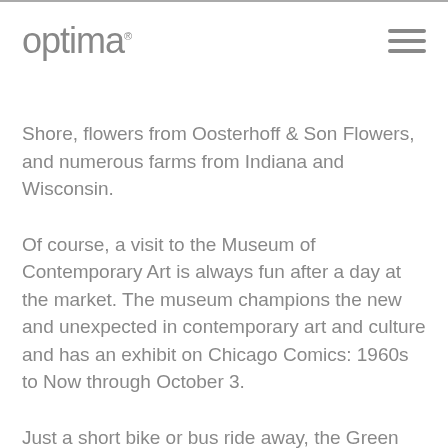optima
Shore, flowers from Oosterhoff & Son Flowers, and numerous farms from Indiana and Wisconsin.
Of course, a visit to the Museum of Contemporary Art is always fun after a day at the market. The museum champions the new and unexpected in contemporary art and culture and has an exhibit on Chicago Comics: 1960s to Now through October 3.
Just a short bike or bus ride away, the Green City Market in Lincoln Park runs from 7 am to 1pm on Wednesdays and Saturdays, May through October. The market features…